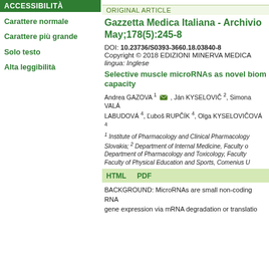ACCESSIBILITÀ
Carattere normale
Carattere più grande
Solo testo
Alta leggibilità
ORIGINAL ARTICLE
Gazzetta Medica Italiana - Archivio May;178(5):245-8
DOI: 10.23736/S0393-3660.18.03840-8
Copyright © 2018 EDIZIONI MINERVA MEDICA
lingua: Inglese
Selective muscle microRNAs as novel biom capacity
Andrea GAZOVA 1 ✉, Ján KYSELOVIČ 2, Simona VALÁ LABUDOVÁ 4, Ľuboš RUPČÍK 4, Olga KYSELOVIČOVÁ 4
1 Institute of Pharmacology and Clinical Pharmacology Slovakia; 2 Department of Internal Medicine, Faculty o Department of Pharmacology and Toxicology, Faculty Faculty of Physical Education and Sports, Comenius U
HTML    PDF
BACKGROUND: MicroRNAs are small non-coding RNA gene expression via mRNA degradation or translatio